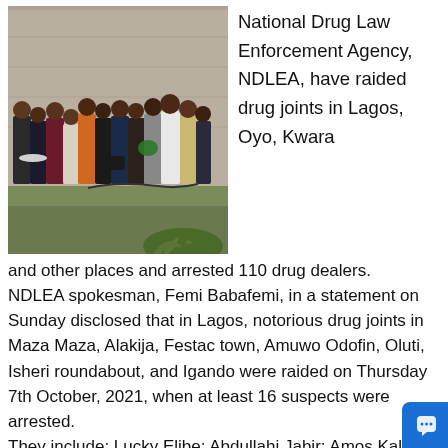[Figure (photo): Group of people standing against a concrete wall outdoors, some holding items, with tropical plants in the foreground. Appears to be arrested drug suspects.]
National Drug Law Enforcement Agency, NDLEA, have raided drug joints in Lagos, Oyo, Kwara and other places and arrested 110 drug dealers.
NDLEA spokesman, Femi Babafemi, in a statement on Sunday disclosed that in Lagos, notorious drug joints in Maza Maza, Alakija, Festac town, Amuwo Odofin, Oluti, Isheri roundabout, and Igando were raided on Thursday 7th October, 2021, when at least 16 suspects were arrested.
They include: Lucky Elibe; Abdullahi Jabir; Amos Kalli; Nweke ThankGod; Tukwosi Arowolu; Odinaka Oramu; Jeremiah Isha